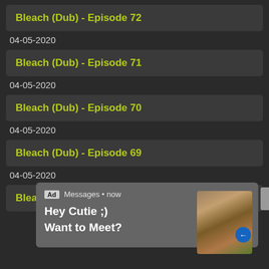Bleach (Dub) - Episode 72
04-05-2020
Bleach (Dub) - Episode 71
04-05-2020
Bleach (Dub) - Episode 70
04-05-2020
Bleach (Dub) - Episode 69
04-05-2020
Bleach (Dub) - Episode 68
[Figure (screenshot): Ad overlay popup showing 'Messages • now' with text 'Hey Cutie ;) Want to Meet?' and a close X button, with an image thumbnail on the right side.]